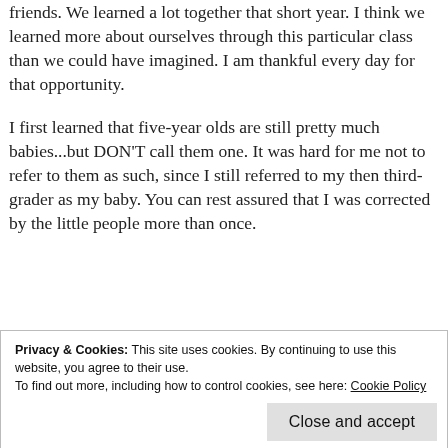friends. We learned a lot together that short year. I think we learned more about ourselves through this particular class than we could have imagined. I am thankful every day for that opportunity.
I first learned that five-year olds are still pretty much babies...but DON’T call them one. It was hard for me not to refer to them as such, since I still referred to my then third-grader as my baby. You can rest assured that I was corrected by the little people more than once.
Privacy & Cookies: This site uses cookies. By continuing to use this website, you agree to their use. To find out more, including how to control cookies, see here: Cookie Policy
Close and accept
me as “the softie”. I in turn, referred to her